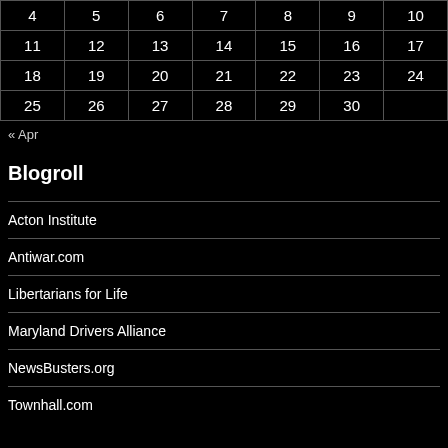| 4 | 5 | 6 | 7 | 8 | 9 | 10 |
| 11 | 12 | 13 | 14 | 15 | 16 | 17 |
| 18 | 19 | 20 | 21 | 22 | 23 | 24 |
| 25 | 26 | 27 | 28 | 29 | 30 |  |
« Apr
Blogroll
Acton Institute
Antiwar.com
Libertarians for Life
Maryland Drivers Alliance
NewsBusters.org
Townhall.com